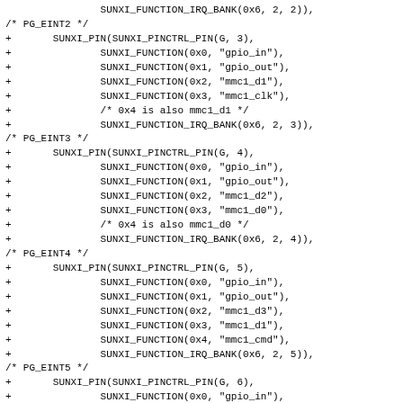Code listing showing SUNXI pin definitions for PG_EINT2 through PG_EINT5 with SUNXI_PIN, SUNXI_FUNCTION, and SUNXI_FUNCTION_IRQ_BANK macros.